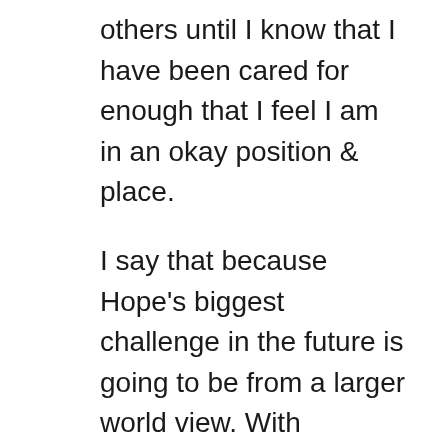others until I know that I have been cared for enough that I feel I am in an okay position & place.
I say that because Hope's biggest challenge in the future is going to be from a larger world view. With everyone hunkering down avoiding the 'crazy world', the world may be put on strict Hope diet.
That's okay.
We will figure it out.
But first, let me get back to around this